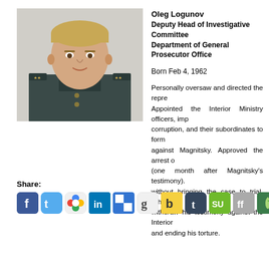[Figure (photo): Headshot photo of Oleg Logunov in military/official uniform with epaulettes and gold stars]
Oleg Logunov
Deputy Head of Investigative Committee Department of General Prosecutor Office
Born Feb 4, 1962
Personally oversaw and directed the repression. Appointed the Interior Ministry officers, implicated in corruption, and their subordinates to form a case against Magnitsky. Approved the arrest of Magnitsky (one month after Magnitsky's testimony). Kept him without bringing the case to trial. While in prison, to withdraw his testimony against the Interior officers and ending his torture.
Share:
[Figure (infographic): Row of social media sharing icons: Facebook, Twitter, Google+, LinkedIn, Delicious, Google, Blinklist, Tumblr, StumbleUpon, FriendFeed, Gnolia, unknown]